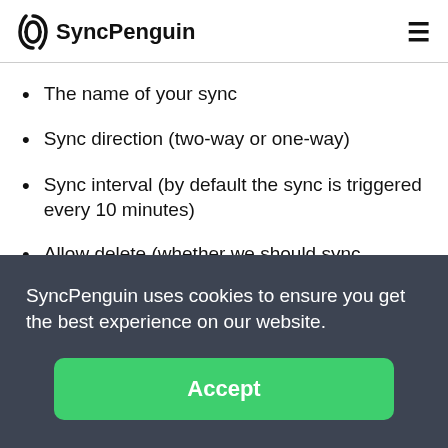SyncPenguin
The name of your sync
Sync direction (two-way or one-way)
Sync interval (by default the sync is triggered every 10 minutes)
Allow delete (whether we should sync contact deletions)
Proceed on error (should the sync ignore errors or
SyncPenguin uses cookies to ensure you get the best experience on our website.
Accept